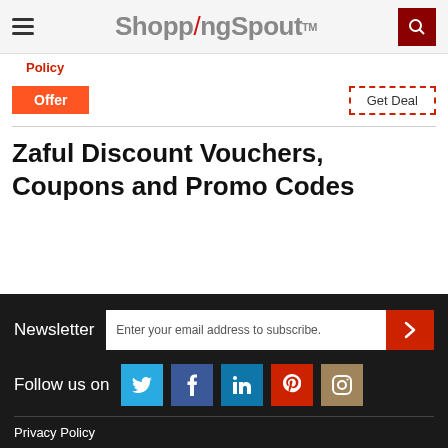ShoppingSpout TM
Policy
Offer
Get Deal
Zaful Discount Vouchers, Coupons and Promo Codes
Newsletter  Enter your email address to subscribe.
Follow us on
Privacy Policy